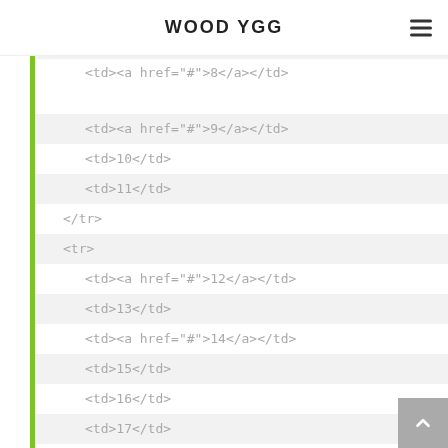WOOD YGG
<td>6</td>
<td><a href="#">7</a></td>
<td><a href="#">8</a></td>
<td><a href="#">9</a></td>
<td>10</td>
<td>11</td>
</tr>
<tr>
<td><a href="#">12</a></td>
<td>13</td>
<td><a href="#">14</a></td>
<td>15</td>
<td>16</td>
<td>17</td>
<td><a href="#">18</a></td>
</tr>
<tr>
<td>19</td>
<td>20</td>